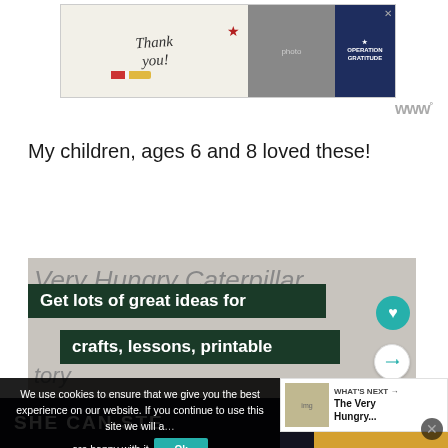[Figure (photo): Advertisement banner showing 'Thank You' with Operation Gratitude branding and healthcare workers in masks holding signs]
www
My children, ages 6 and 8 loved these!
[Figure (screenshot): Image showing 'Very Hungry Caterpillar' text in background with two dark green overlay banners reading 'Get lots of great ideas for' and 'crafts, lessons, printable'. Heart save button and share button visible on right side.]
We use cookies to ensure that we give you the best experience on our website. If you continue to use this site we will assume you are happy with it.
[Figure (screenshot): What's Next panel showing The Very Hungry... article thumbnail]
SHE CAN STE
Physical Ed Curriculum